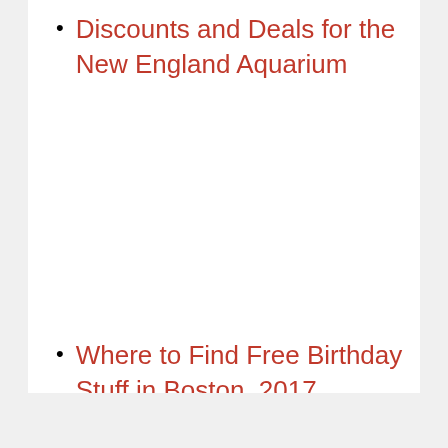Discounts and Deals for the New England Aquarium
Where to Find Free Birthday Stuff in Boston, 2017 Version